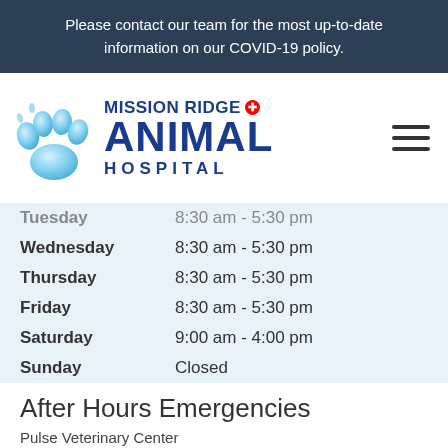Please contact our team for the most up-to-date information on our COVID-19 policy.
[Figure (logo): Mission Ridge Animal Hospital logo with blue paw print and text]
| Day | Hours |
| --- | --- |
| Tuesday | 8:30 am - 5:30 pm |
| Wednesday | 8:30 am - 5:30 pm |
| Thursday | 8:30 am - 5:30 pm |
| Friday | 8:30 am - 5:30 pm |
| Saturday | 9:00 am - 4:00 pm |
| Sunday | Closed |
After Hours Emergencies
Pulse Veterinary Center
780-570-9999